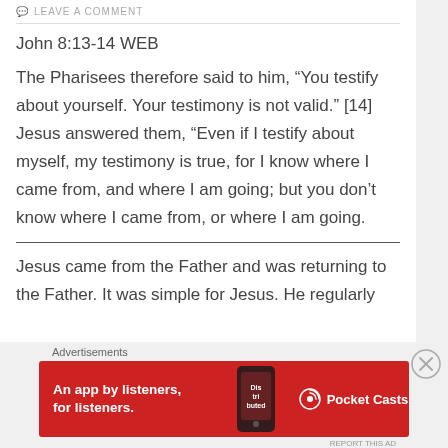LEAVE A COMMENT
John 8:13-14 WEB
The Pharisees therefore said to him, “You testify about yourself. Your testimony is not valid.” [14] Jesus answered them, “Even if I testify about myself, my testimony is true, for I know where I came from, and where I am going; but you don’t know where I came from, or where I am going.
Jesus came from the Father and was returning to the Father. It was simple for Jesus. He regularly
[Figure (other): Pocket Casts advertisement banner: red background with text 'An app by listeners, for listeners.' and Pocket Casts logo with phone image]